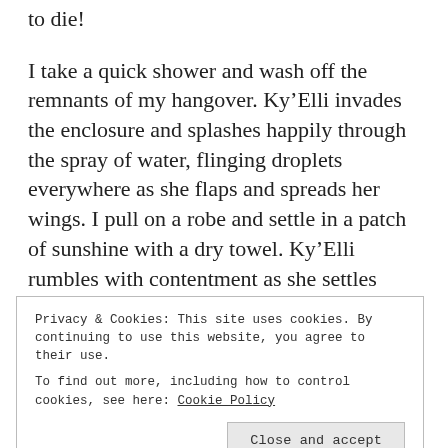to die!
I take a quick shower and wash off the remnants of my hangover. Ky’Elli invades the enclosure and splashes happily through the spray of water, flinging droplets everywhere as she flaps and spreads her wings. I pull on a robe and settle in a patch of sunshine with a dry towel. Ky’Elli rumbles with contentment as she settles onto my lap and I towel her dry.
“Ky’Elli, do you know where you came from? You are
Privacy & Cookies: This site uses cookies. By continuing to use this website, you agree to their use.
To find out more, including how to control cookies, see here: Cookie Policy
Close and accept
have known her mere hours. She should not